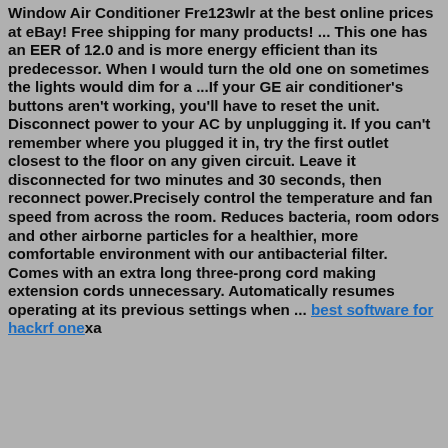Window Air Conditioner Fre123wlr at the best online prices at eBay! Free shipping for many products! ... This one has an EER of 12.0 and is more energy efficient than its predecessor. When I would turn the old one on sometimes the lights would dim for a ...If your GE air conditioner's buttons aren't working, you'll have to reset the unit. Disconnect power to your AC by unplugging it. If you can't remember where you plugged it in, try the first outlet closest to the floor on any given circuit. Leave it disconnected for two minutes and 30 seconds, then reconnect power.Precisely control the temperature and fan speed from across the room. Reduces bacteria, room odors and other airborne particles for a healthier, more comfortable environment with our antibacterial filter. Comes with an extra long three-prong cord making extension cords unnecessary. Automatically resumes operating at its previous settings when ... best software for hackrf onexa